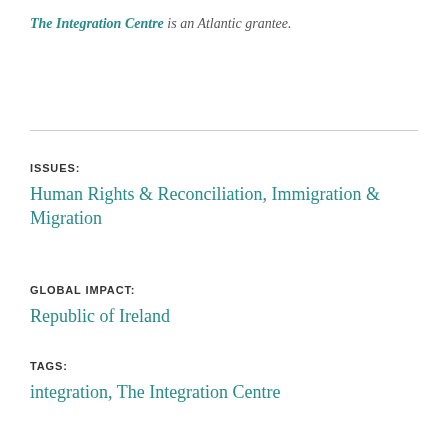The Integration Centre is an Atlantic grantee.
ISSUES:
Human Rights & Reconciliation, Immigration & Migration
GLOBAL IMPACT:
Republic of Ireland
TAGS:
integration, The Integration Centre